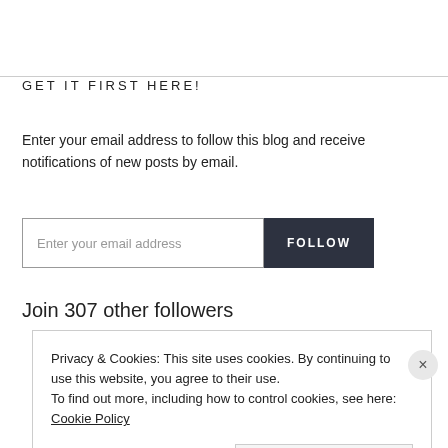GET IT FIRST HERE!
Enter your email address to follow this blog and receive notifications of new posts by email.
Join 307 other followers
Privacy & Cookies: This site uses cookies. By continuing to use this website, you agree to their use.
To find out more, including how to control cookies, see here: Cookie Policy
Close and accept